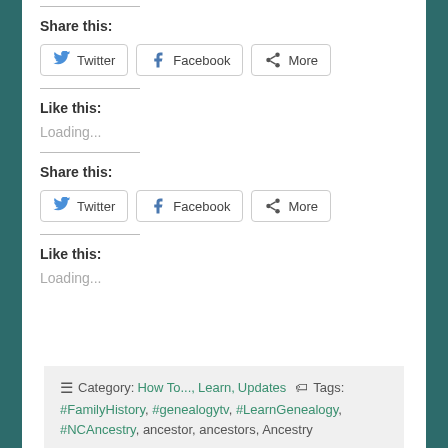Share this:
Twitter  Facebook  More
Like this:
Loading...
Share this:
Twitter  Facebook  More
Like this:
Loading...
Category: How To..., Learn, Updates   Tags: #FamilyHistory, #genealogytv, #LearnGenealogy, #NCAncestry, ancestor, ancestors, Ancestry